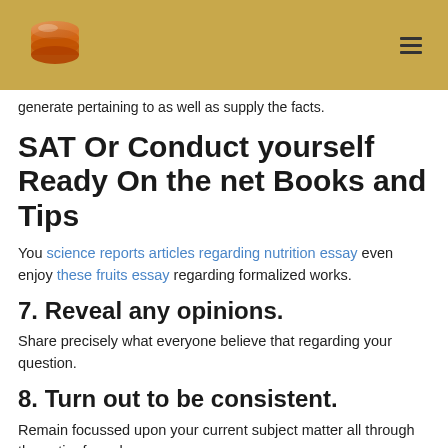generate pertaining to as well as supply the facts.
SAT Or Conduct yourself Ready On the net Books and Tips
You science reports articles regarding nutrition essay even enjoy these fruits essay regarding formalized works.
7. Reveal any opinions.
Share precisely what everyone believe that regarding your question.
8. Turn out to be consistent.
Remain focussed upon your current subject matter all through the entire formula.